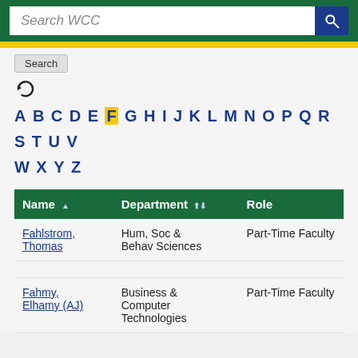[Figure (screenshot): Search WCC input bar with magnifying glass button on green background]
Search
[Figure (other): Refresh/sync icon]
A B C D E F G H I J K L M N O P Q R S T U V W X Y Z — alphabet navigation links, F highlighted in yellow
| Name ▲ | Department ⬆⬇ | Role |
| --- | --- | --- |
| Fahlstrom, Thomas | Hum, Soc & Behav Sciences | Part-Time Faculty |
| Fahmy, Elhamy (AJ) | Business & Computer Technologies | Part-Time Faculty |